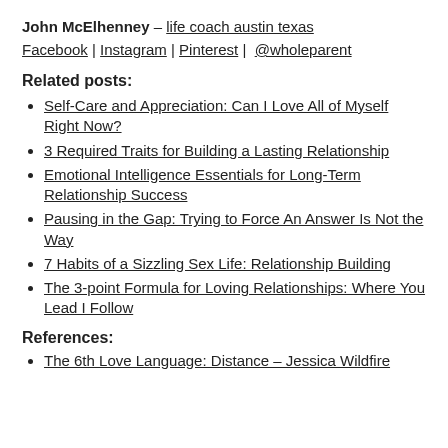John McElhenney – life coach austin texas
Facebook | Instagram | Pinterest | @wholeparent
Related posts:
Self-Care and Appreciation: Can I Love All of Myself Right Now?
3 Required Traits for Building a Lasting Relationship
Emotional Intelligence Essentials for Long-Term Relationship Success
Pausing in the Gap: Trying to Force An Answer Is Not the Way
7 Habits of a Sizzling Sex Life: Relationship Building
The 3-point Formula for Loving Relationships: Where You Lead I Follow
References:
The 6th Love Language: Distance – Jessica Wildfire